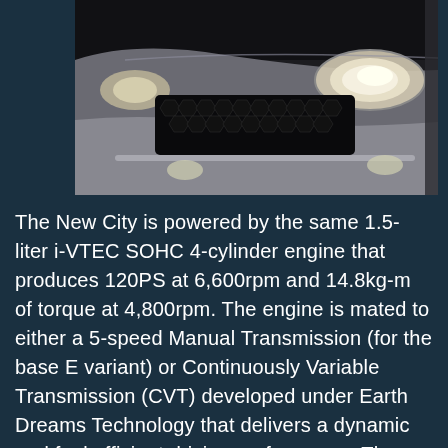[Figure (photo): Close-up photo of the front end of a Honda City car showing the grille, headlight, and hood in a dark grey/silver color against a dark background.]
The New City is powered by the same 1.5-liter i-VTEC SOHC 4-cylinder engine that produces 120PS at 6,600rpm and 14.8kg-m of torque at 4,800rpm. The engine is mated to either a 5-speed Manual Transmission (for the base E variant) or Continuously Variable Transmission (CVT) developed under Earth Dreams Technology that delivers a dynamic and fuel efficient driving performance. The New City also features Honda's Eco Assist System which consists of the ECON button and eco-coaching ambient meter to promote smart and fuel efficient driving habit.